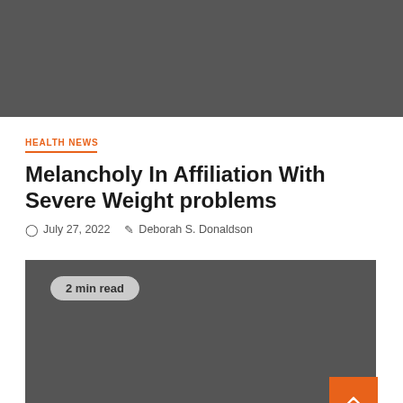[Figure (photo): Dark gray placeholder image at top of article page]
HEALTH NEWS
Melancholy In Affiliation With Severe Weight problems
July 27, 2022   Deborah S. Donaldson
[Figure (photo): Dark gray placeholder image for article content with '2 min read' badge overlay]
2 min read